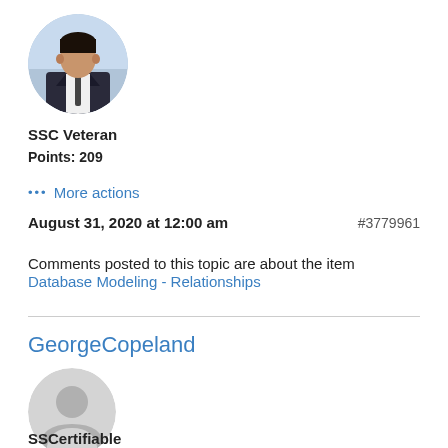[Figure (photo): Circular profile photo of a young man in a suit and tie]
SSC Veteran
Points: 209
··· More actions
August 31, 2020 at 12:00 am    #3779961
Comments posted to this topic are about the item Database Modeling - Relationships
GeorgeCopeland
[Figure (illustration): Generic grey circular user avatar icon (placeholder silhouette)]
SSCertifiable